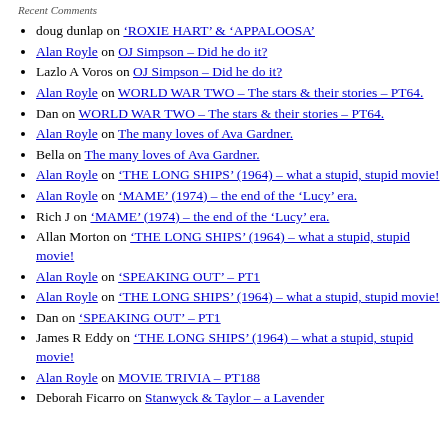Recent Comments
doug dunlap on 'ROXIE HART' & 'APPALOOSA'
Alan Royle on OJ Simpson – Did he do it?
Lazlo A Voros on OJ Simpson – Did he do it?
Alan Royle on WORLD WAR TWO – The stars & their stories – PT64.
Dan on WORLD WAR TWO – The stars & their stories – PT64.
Alan Royle on The many loves of Ava Gardner.
Bella on The many loves of Ava Gardner.
Alan Royle on 'THE LONG SHIPS' (1964) – what a stupid, stupid movie!
Alan Royle on 'MAME' (1974) – the end of the 'Lucy' era.
Rich J on 'MAME' (1974) – the end of the 'Lucy' era.
Allan Morton on 'THE LONG SHIPS' (1964) – what a stupid, stupid movie!
Alan Royle on 'SPEAKING OUT' – PT1
Alan Royle on 'THE LONG SHIPS' (1964) – what a stupid, stupid movie!
Dan on 'SPEAKING OUT' – PT1
James R Eddy on 'THE LONG SHIPS' (1964) – what a stupid, stupid movie!
Alan Royle on MOVIE TRIVIA – PT188
Deborah Ficarro on Stanwyck & Taylor – a Lavender Marriage?